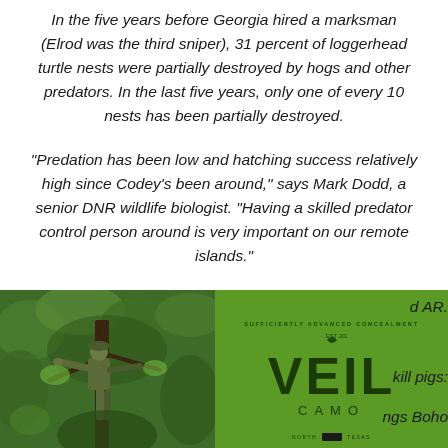In the five years before Georgia hired a marksman (Elrod was the third sniper), 31 percent of loggerhead turtle nests were partially destroyed by hogs and other predators. In the last five years, only one of every 10 nests has been partially destroyed.
“Predation has been low and hatching success relatively high since Codey’s been around,” says Mark Dodd, a senior DNR wildlife biologist. “Having a skilled predator control person around is very important on our remote islands.”
[Figure (photo): A person in camouflage climbing or positioned in a tree in a lush green forest setting.]
[Figure (logo): VEIL CAMO advertisement on a green background with logo and tagline text.]
d AR.
kill pigs:
ngs Boho